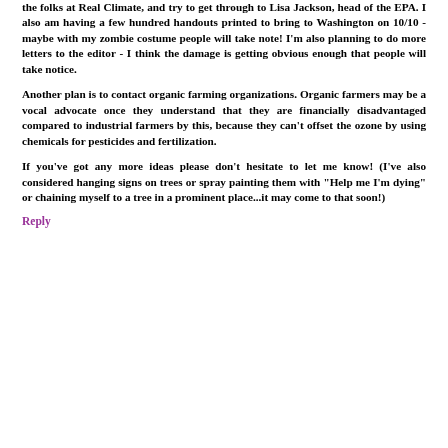the folks at Real Climate, and try to get through to Lisa Jackson, head of the EPA. I also am having a few hundred handouts printed to bring to Washington on 10/10 - maybe with my zombie costume people will take note! I'm also planning to do more letters to the editor - I think the damage is getting obvious enough that people will take notice.
Another plan is to contact organic farming organizations. Organic farmers may be a vocal advocate once they understand that they are financially disadvantaged compared to industrial farmers by this, because they can't offset the ozone by using chemicals for pesticides and fertilization.
If you've got any more ideas please don't hesitate to let me know! (I've also considered hanging signs on trees or spray painting them with "Help me I'm dying" or chaining myself to a tree in a prominent place...it may come to that soon!)
Reply